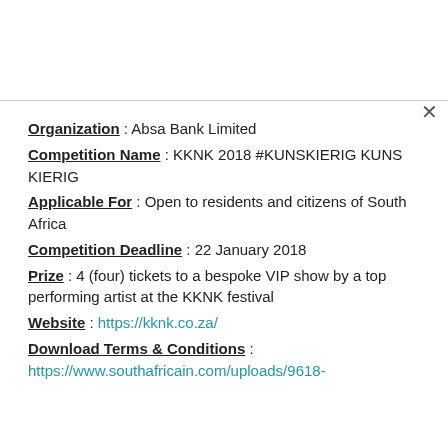Organization : Absa Bank Limited
Competition Name : KKNK 2018 #KUNSKIERIG KUNS KIERIG
Applicable For : Open to residents and citizens of South Africa
Competition Deadline : 22 January 2018
Prize : 4 (four) tickets to a bespoke VIP show by a top performing artist at the KKNK festival
Website : https://kknk.co.za/
Download Terms & Conditions : https://www.southafricain.com/uploads/9618-